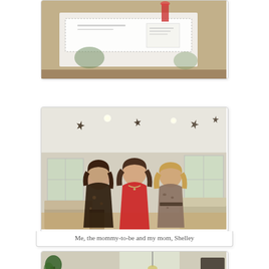[Figure (photo): Top portion of a photo showing a decorated table with white tablecloth and party decorations, partially cropped at top of page]
[Figure (photo): Three women standing together in a living room decorated with starfish on the ceiling. Left woman wears a floral/dark dress, center woman wears a red strapless dress (mommy-to-be), right woman wears a leopard print dress. Room has sofas and recessed lighting.]
Me, the mommy-to-be and my mom, Shelley
[Figure (photo): Partially visible photo at the bottom of the page showing an interior room with plants and furniture, cropped at bottom]